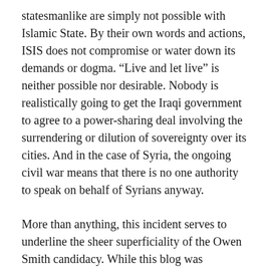statesmanlike are simply not possible with Islamic State. By their own words and actions, ISIS does not compromise or water down its demands or dogma. “Live and let live” is neither possible nor desirable. Nobody is realistically going to get the Iraqi government to agree to a power-sharing deal involving the surrendering or dilution of sovereignty over its cities. And in the case of Syria, the ongoing civil war means that there is no one authority to speak on behalf of Syrians anyway.
More than anything, this incident serves to underline the sheer superficiality of the Owen Smith candidacy. While this blog was previously encouraged that Smith had at least a few policy ideas of his own (one step better than the hapless Angela Eagle, whose pitch for the top job seemed to rest entirely on her winning personality) these have proven to be nothing but a restatement of Jeremy